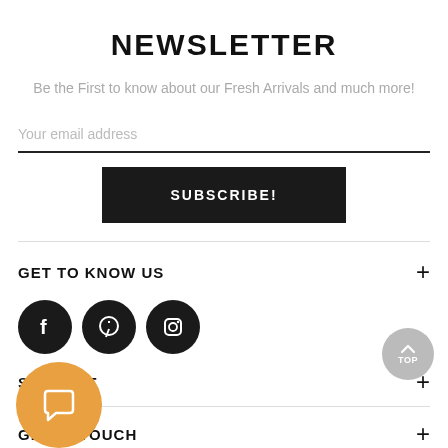NEWSLETTER
Be the First to know about our Fresh Arrivals and much more!
Your email address
SUBSCRIBE!
GET TO KNOW US
[Figure (other): Three social media icons: Facebook, Pinterest, Instagram — black circles with white logos]
SUPPORT
GET IN TOUCH